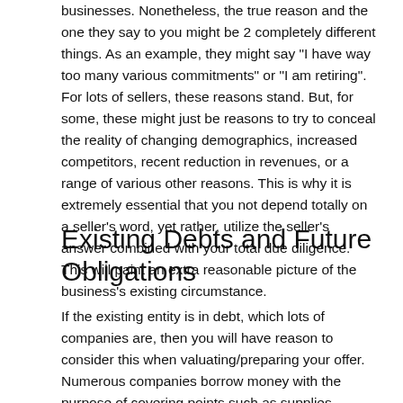businesses. Nonetheless, the true reason and the one they say to you might be 2 completely different things. As an example, they might say "I have way too many various commitments" or "I am retiring". For lots of sellers, these reasons stand. But, for some, these might just be reasons to try to conceal the reality of changing demographics, increased competitors, recent reduction in revenues, or a range of various other reasons. This is why it is extremely essential that you not depend totally on a seller's word, yet rather, utilize the seller's answer combined with your total due diligence. This will paint an extra reasonable picture of the business's existing circumstance.
Existing Debts and Future Obligations
If the existing entity is in debt, which lots of companies are, then you will have reason to consider this when valuating/preparing your offer. Numerous companies borrow money with the purpose of covering points such as supplies, payroll, accounts payable, and so on. Bear in mind that occasionally this can imply that profit